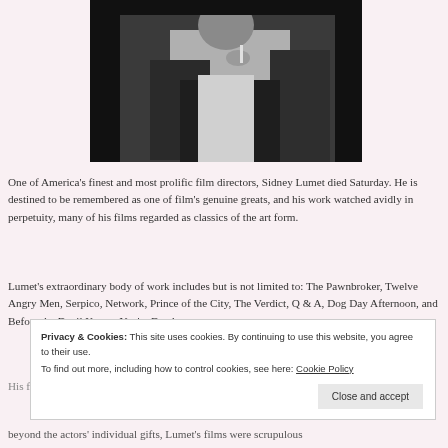[Figure (photo): Black and white photograph of Sidney Lumet, partially cropped, showing him from the shoulders up.]
One of America's finest and most prolific film directors, Sidney Lumet died Saturday. He is destined to be remembered as one of film's genuine greats, and his work watched avidly in perpetuity, many of his films regarded as classics of the art form.
Lumet's extraordinary body of work includes but is not limited to: The Pawnbroker, Twelve Angry Men, Serpico, Network, Prince of the City, The Verdict, Q & A, Dog Day Afternoon, and Before the Devil Knows You're Dead.
Privacy & Cookies: This site uses cookies. By continuing to use this website, you agree to their use.
To find out more, including how to control cookies, see here: Cookie Policy
Close and accept
beyond the actors' individual gifts, Lumet's films were scrupulous